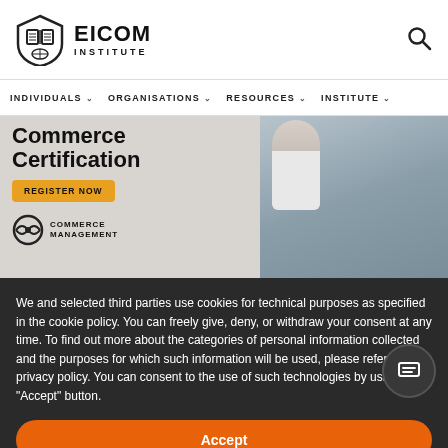[Figure (logo): EICOM Institute logo with shield icon and text]
INDIVIDUALS  ORGANISATIONS  RESOURCES  INSTITUTE
[Figure (photo): Commerce Certification banner with two professionals and a Register Now button. Commerce Management logo at bottom left.]
We and selected third parties use cookies for technical purposes as specified in the cookie policy. You can freely give, deny, or withdraw your consent at any time. To find out more about the categories of personal information collected and the purposes for which such information will be used, please refer to our privacy policy. You can consent to the use of such technologies by using the "Accept" button.
Accept
Learn more and customize